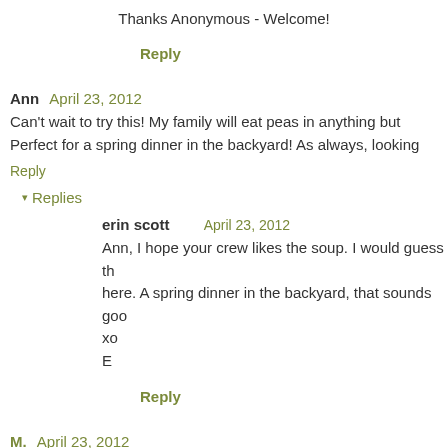Thanks Anonymous - Welcome!
Reply
Ann  April 23, 2012
Can't wait to try this! My family will eat peas in anything but Perfect for a spring dinner in the backyard! As always, looking
Reply
▾ Replies
erin scott     April 23, 2012
Ann, I hope your crew likes the soup. I would guess th here. A spring dinner in the backyard, that sounds goo xo E
Reply
M.  April 23, 2012